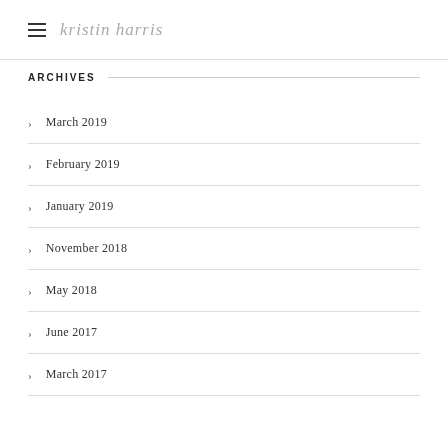kristin harris
ARCHIVES
March 2019
February 2019
January 2019
November 2018
May 2018
June 2017
March 2017